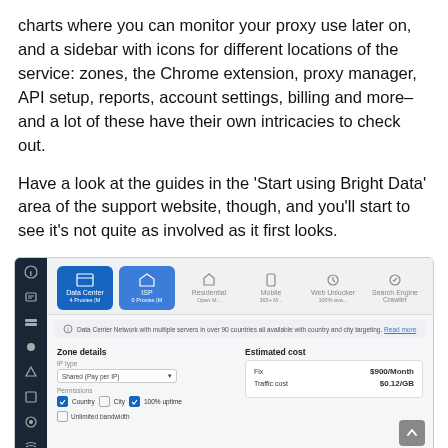charts where you can monitor your proxy use later on, and a sidebar with icons for different locations of the service: zones, the Chrome extension, proxy manager, API setup, reports, account settings, billing and more– and a lot of these have their own intricacies to check out.
Have a look at the guides in the ‘Start using Bright Data’ area of the support website, though, and you’ll start to see it’s not quite as involved as it first looks.
[Figure (screenshot): Screenshot of Bright Data dashboard showing proxy zone setup with navigation sidebar (dark), top nav buttons for Data Center, ISP, Residential, Mobile, Web Unlocker, Search Engine Crawler, an info bar about Data Center Network, Zone details section with IP type selector (Shared Pay per IP), permissions checkboxes (Country, City, 100% uptime, Unlimited bandwidth), and Estimated cost panel showing Fix: $900/Month and Traffic cost: $0.12/GB. A back-to-top button appears bottom right.]